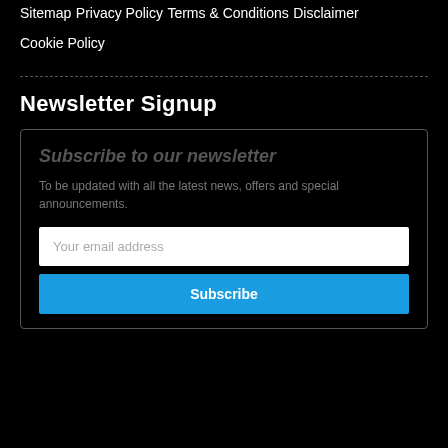Sitemap
Privacy Policy
Terms & Conditions
Disclaimer
Cookie Policy
Newsletter Signup
Subscribe to our newsletter
To be updated with all the latest news, offers and special announcements.
Your email address
Subscribe